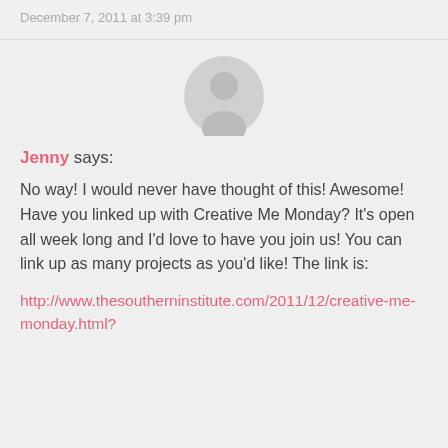December 7, 2011 at 3:39 pm
Jenny says:
No way! I would never have thought of this! Awesome! Have you linked up with Creative Me Monday? It's open all week long and I'd love to have you join us! You can link up as many projects as you'd like! The link is:
http://www.thesoutherninstitute.com/2011/12/creative-me-monday.html?